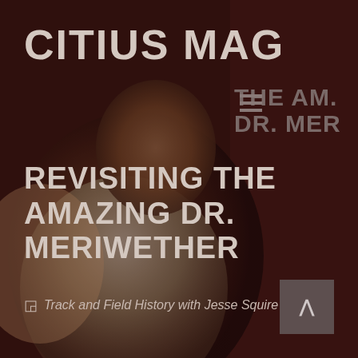[Figure (photo): Dark moody background photo of a person in athletic/sports attire with a dark red/maroon overlay. The figure appears to be leaning forward against a dark reddish-brown background.]
CITIUS MAG
THE AM DR. MER
REVISITING THE AMAZING DR. MERIWETHER
Track and Field History with Jesse Squire